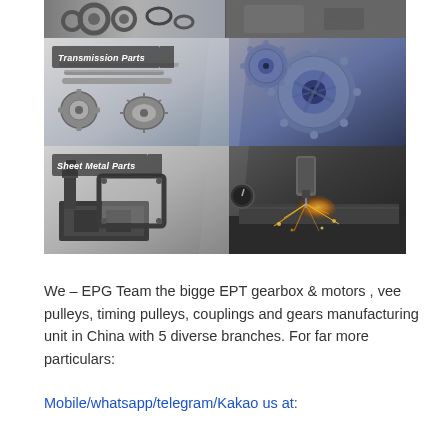[Figure (photo): Three-panel product image collage: top strip showing metallic parts/flanges on dark background, middle panel labeled 'Transmission Parts' showing shafts/gears on left and large interlocking gears on right, bottom panel labeled 'Sheet Metal Parts' showing fabricated metal brackets on left and laser cutting machine with sparks on right.]
We – EPG Team the bigge EPT gearbox & motors , vee pulleys, timing pulleys, couplings and gears manufacturing unit in China with 5 diverse branches. For far more particulars:
Mobile/whatsapp/telegram/Kakao us at: